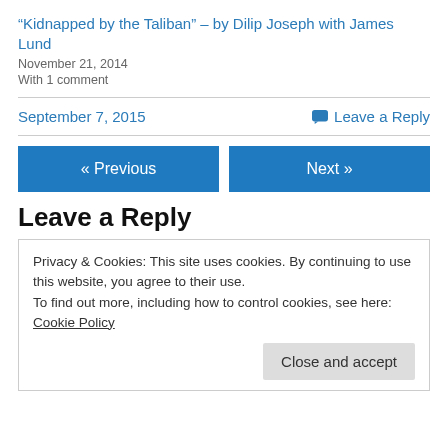“Kidnapped by the Taliban” – by Dilip Joseph with James Lund
November 21, 2014
With 1 comment
September 7, 2015
Leave a Reply
« Previous
Next »
Leave a Reply
Privacy & Cookies: This site uses cookies. By continuing to use this website, you agree to their use.
To find out more, including how to control cookies, see here: Cookie Policy
Close and accept